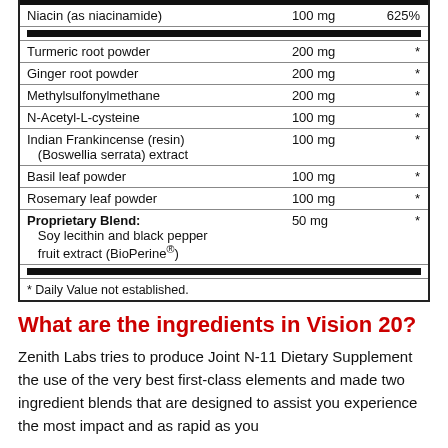| Ingredient | Amount | % DV |
| --- | --- | --- |
| Niacin (as niacinamide) | 100 mg | 625% |
| Turmeric root powder | 200 mg | * |
| Ginger root powder | 200 mg | * |
| Methylsulfonylmethane | 200 mg | * |
| N-Acetyl-L-cysteine | 100 mg | * |
| Indian Frankincense (resin) (Boswellia serrata) extract | 100 mg | * |
| Basil leaf powder | 100 mg | * |
| Rosemary leaf powder | 100 mg | * |
| Proprietary Blend: Soy lecithin and black pepper fruit extract (BioPerine®) | 50 mg | * |
| * Daily Value not established. |  |  |
What are the ingredients in Vision 20?
Zenith Labs tries to produce Joint N-11 Dietary Supplement the use of the very best first-class elements and made two ingredient blends that are designed to assist you experience the most impact and as rapid as you